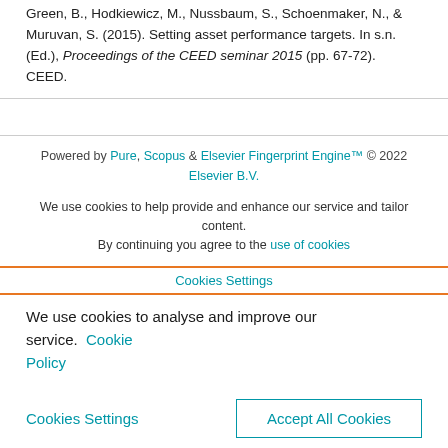Green, B., Hodkiewicz, M., Nussbaum, S., Schoenmaker, N., & Muruvan, S. (2015). Setting asset performance targets. In s.n. (Ed.), Proceedings of the CEED seminar 2015 (pp. 67-72). CEED.
Powered by Pure, Scopus & Elsevier Fingerprint Engine™ © 2022 Elsevier B.V.
We use cookies to help provide and enhance our service and tailor content. By continuing you agree to the use of cookies
Cookies Settings
We use cookies to analyse and improve our service. Cookie Policy
Cookies Settings   Accept All Cookies